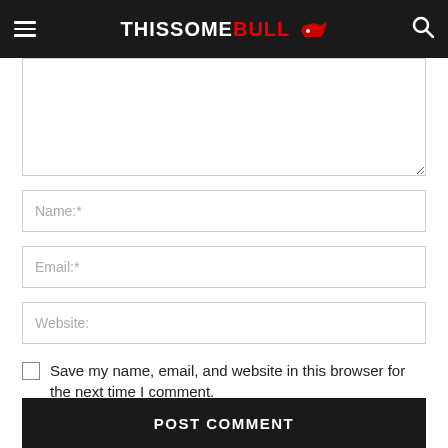THISSOME BULL
Name:*
Email:*
Website:
Save my name, email, and website in this browser for the next time I comment.
POST COMMENT